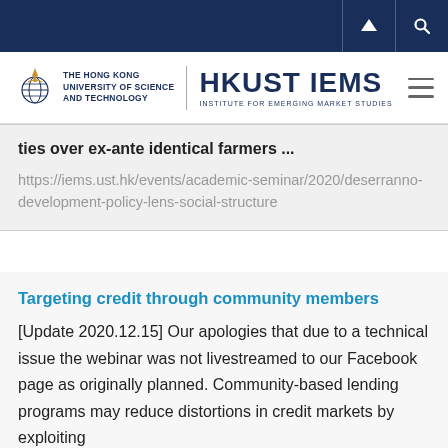THE HONG KONG UNIVERSITY OF SCIENCE AND TECHNOLOGY | HKUST IEMS INSTITUTE FOR EMERGING MARKET STUDIES
ties over ex-ante identical farmers ...
https://iems.ust.hk/events/academic-seminar/2020/deserranno-development-policy-lens-social-structure
Targeting credit through community members
[Update 2020.12.15] Our apologies that due to a technical issue the webinar was not livestreamed to our Facebook page as originally planned. Community-based lending programs may reduce distortions in credit markets by exploiting